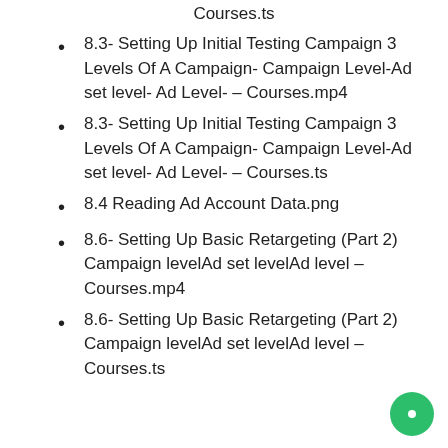Courses.ts
8.3- Setting Up Initial Testing Campaign 3 Levels Of A Campaign- Campaign Level-Ad set level- Ad Level- – Courses.mp4
8.3- Setting Up Initial Testing Campaign 3 Levels Of A Campaign- Campaign Level-Ad set level- Ad Level- – Courses.ts
8.4 Reading Ad Account Data.png
8.6- Setting Up Basic Retargeting (Part 2) Campaign levelAd set levelAd level – Courses.mp4
8.6- Setting Up Basic Retargeting (Part 2) Campaign levelAd set levelAd level – Courses.ts